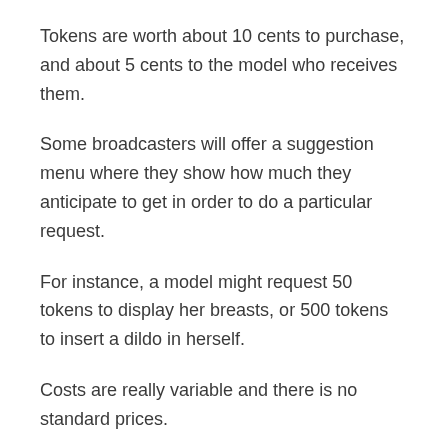Tokens are worth about 10 cents to purchase, and about 5 cents to the model who receives them.
Some broadcasters will offer a suggestion menu where they show how much they anticipate to get in order to do a particular request.
For instance, a model might request 50 tokens to display her breasts, or 500 tokens to insert a dildo in herself.
Costs are really variable and there is no standard prices.
Teledildonic sex toys, that is vibrators that are remotely managed, and typically used internally by Chaturbate designs.
The popular Lovense Lush with the visible pink “tail” is the most common model used.
By using suitable interfacing software application the vibrator can